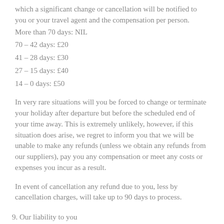which a significant change or cancellation will be notified to you or your travel agent and the compensation per person.
More than 70 days: NIL
70 – 42 days: £20
41 – 28 days: £30
27 – 15 days: £40
14 – 0 days: £50
In very rare situations will you be forced to change or terminate your holiday after departure but before the scheduled end of your time away. This is extremely unlikely, however, if this situation does arise, we regret to inform you that we will be unable to make any refunds (unless we obtain any refunds from our suppliers), pay you any compensation or meet any costs or expenses you incur as a result.
In event of cancellation any refund due to you, less by cancellation charges, will take up to 90 days to process.
9. Our liability to you
(a) We promise to ensure that any arrangements we have agreed to make, perform or provide as applicable as part